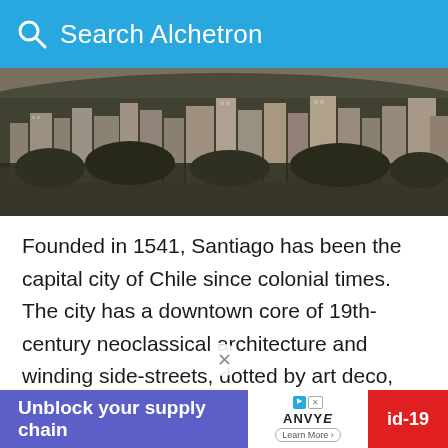Search Alchetron
[Figure (photo): Aerial/hillside view of Santiago, Chile cityscape with dense buildings and trees in sepia/desaturated tone]
Founded in 1541, Santiago has been the capital city of Chile since colonial times. The city has a downtown core of 19th-century neoclassical architecture and winding side-streets, dotted by art deco, neo-gothic, and other styles. Santiago's cityscape is shaped by several stand-alone hills and the fast-flowing Mapocho River, lined by parks such as Parque Forestal. The Andes Mountains can be seen from most points in the city. These mountains... problems...
[Figure (screenshot): Advertisement bar: 'Unblock your supply chain' with ANVYE branding and a red covid-19 tag]